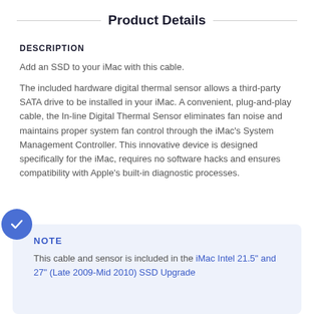Product Details
DESCRIPTION
Add an SSD to your iMac with this cable.
The included hardware digital thermal sensor allows a third-party SATA drive to be installed in your iMac. A convenient, plug-and-play cable, the In-line Digital Thermal Sensor eliminates fan noise and maintains proper system fan control through the iMac’s System Management Controller. This innovative device is designed specifically for the iMac, requires no software hacks and ensures compatibility with Apple’s built-in diagnostic processes.
NOTE
This cable and sensor is included in the iMac Intel 21.5" and 27" (Late 2009-Mid 2010) SSD Upgrade